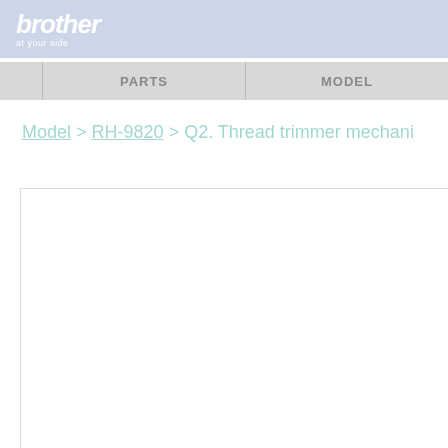brother at your side
PARTS | MODEL
Model > RH-9820 > Q2. Thread trimmer mechani...